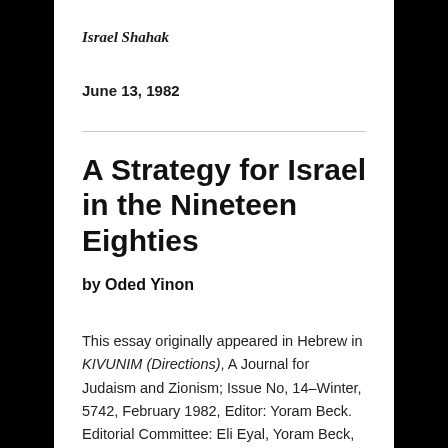Israel Shahak
June 13, 1982
A Strategy for Israel in the Nineteen Eighties
by Oded Yinon
This essay originally appeared in Hebrew in KIVUNIM (Directions), A Journal for Judaism and Zionism; Issue No, 14–Winter, 5742, February 1982, Editor: Yoram Beck. Editorial Committee: Eli Eyal, Yoram Beck, Amnon